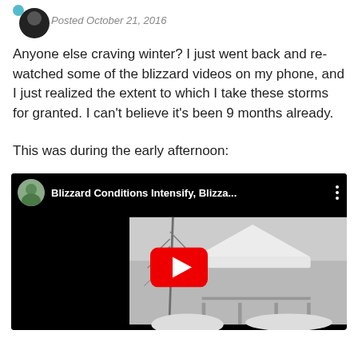Posted October 21, 2016
Anyone else craving winter? I just went back and re-watched some of the blizzard videos on my phone, and I just realized the extent to which I take these storms for granted. I can't believe it's been 9 months already.
This was during the early afternoon:
[Figure (screenshot): Embedded YouTube video player showing 'Blizzard Conditions Intensify, Blizza...' with a thumbnail of a snowy outdoor scene and a red YouTube play button in the center.]